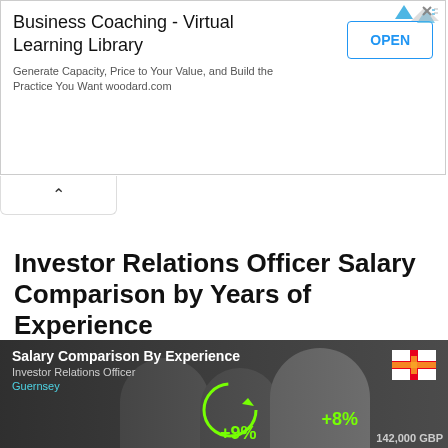[Figure (screenshot): Advertisement banner for Business Coaching Virtual Learning Library by woodard.com with an OPEN button]
Investor Relations Officer Salary Comparison by Years of Experience
How does experience and age affect your pay?
[Figure (infographic): Salary Comparison By Experience infographic for Investor Relations Officer in Guernsey, showing +9% and +8% increases, 142,000 GBP, with Guernsey flag and people in background]